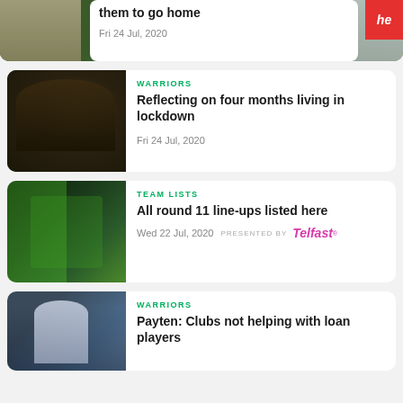[Figure (photo): Partial top card showing rugby players with white overlay text box, red logo top right, date Fri 24 Jul 2020]
them to go home
Fri 24 Jul, 2020
[Figure (photo): Warriors rugby players celebrating in yellow and black jerseys]
WARRIORS
Reflecting on four months living in lockdown
Fri 24 Jul, 2020
[Figure (photo): Team lists image with green tinted rugby players]
TEAM LISTS
All round 11 line-ups listed here
Wed 22 Jul, 2020   PRESENTED BY Telfast
[Figure (photo): Payten rugby player holding ball in blue and white kit]
WARRIORS
Payten: Clubs not helping with loan players